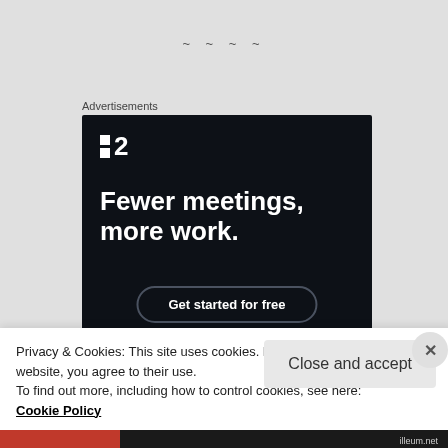~ ~ ~ ~
Advertisements
[Figure (illustration): Advertisement for a project management tool (Plan·2 / Planio). Dark navy background with white logo showing two small squares and the number 2. Bold white headline reads 'Fewer meetings, more work.' with a rounded button below reading 'Get started for free'.]
Privacy & Cookies: This site uses cookies. By continuing to use this website, you agree to their use.
To find out more, including how to control cookies, see here:
Cookie Policy
Close and accept